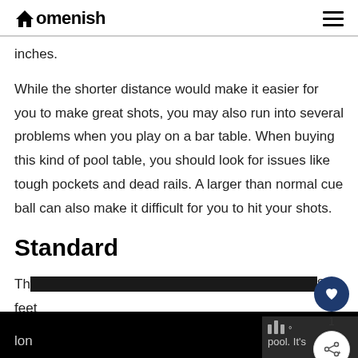Homenish
inches.
While the shorter distance would make it easier for you to make great shots, you may also run into several problems when you play on a bar table. When buying this kind of pool table, you should look for issues like tough pockets and dead rails. A larger than normal cue ball can also make it difficult for you to hit your shots.
Standard
Th... 8 feet lon... pool. It's